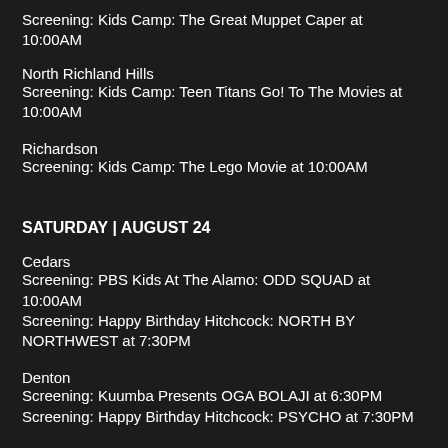Screening: Kids Camp: The Great Muppet Caper at 10:00AM
North Richland Hills
Screening: Kids Camp: Teen Titans Go! To The Movies at 10:00AM
Richardson
Screening: Kids Camp: The Lego Movie at 10:00AM
SATURDAY | AUGUST 24
Cedars
Screening: PBS Kids At The Alamo: ODD SQUAD at 10:00AM
Screening: Happy Birthday Hitchcock: NORTH BY NORTHWEST at 7:30PM
Denton
Screening: Kuumba Presents OGA BOLAJI at 6:30PM
Screening: Happy Birthday Hitchcock: PSYCHO at 7:30PM